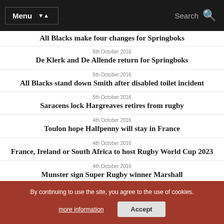Menu | Search
All Blacks make four changes for Springboks
6th October 2016
De Klerk and De Allende return for Springboks
5th October 2016
All Blacks stand down Smith after disabled toilet incident
5th October 2016
Saracens lock Hargreaves retires from rugby
4th October 2016
Toulon hope Halfpenny will stay in France
4th October 2016
France, Ireland or South Africa to host Rugby World Cup 2023
4th October 2016
Munster sign Super Rugby winner Marshall
Bath come from behind to beat Gloucester
By continuing to use the site, you agree to the use of cookies. more information | Accept